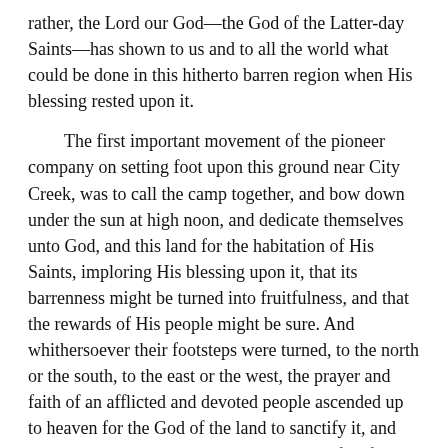rather, the Lord our God—the God of the Latter-day Saints—has shown to us and to all the world what could be done in this hitherto barren region when His blessing rested upon it.
The first important movement of the pioneer company on setting foot upon this ground near City Creek, was to call the camp together, and bow down under the sun at high noon, and dedicate themselves unto God, and this land for the habitation of His Saints, imploring His blessing upon it, that its barrenness might be turned into fruitfulness, and that the rewards of His people might be sure. And whithersoever their footsteps were turned, to the north or the south, to the east or the west, the prayer and faith of an afflicted and devoted people ascended up to heaven for the God of the land to sanctify it, and hallow the elements and make the country fruitful.
The art of irrigation was unknown on the North American continent at that time—at least among European settlers in the United States. There was no part of the United States which at that time relied upon artificial irrigation in all the arid regions of America. The system of irrigation adopted in Utah has measurably been copied by California, Colorado, Arizona, Wyoming, Idaho, and Montana, although some of the best features of our system of irrigation have been neglected in these